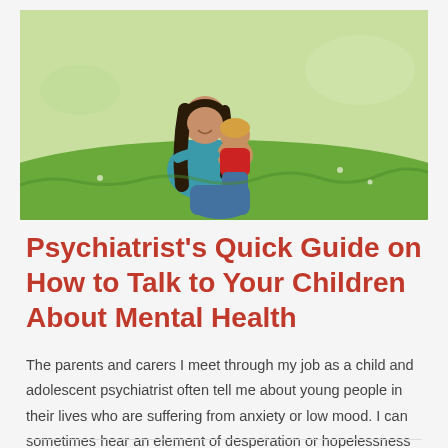[Figure (photo): A woman with long dark hair wearing a teal top sitting on grass outdoors, hugging a young child in a red shirt. Both are smiling. Outdoor park/garden setting with green grass and light background.]
Psychiatrist's Quick Guide on How to Talk to Your Children About Mental Health
The parents and carers I meet through my job as a child and adolescent psychiatrist often tell me about young people in their lives who are suffering from anxiety or low mood. I can sometimes hear an element of desperation or hopelessness in their voice, which may come from the fact they have no idea what [...]